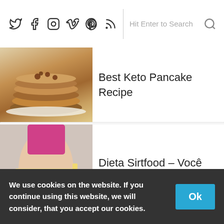Social icons and search bar
Best Keto Pancake Recipe
[Figure (photo): Stack of keto pancakes with toppings on a plate]
Dieta Sirtfood – Você Bonita (19/05/17)
[Figure (photo): Woman measuring waist with tape measure, text overlay DIETA SIRTFOOD]
Fathead Pizza Recipe For Keto | How To Make The BEST Low Carb Gluten Free Fat Head Pizza Dough
[Figure (photo): Fathead keto pizza with pepperoni and strawberries]
We use cookies on the website. If you continue using this website, we will consider, that you accept our cookies.